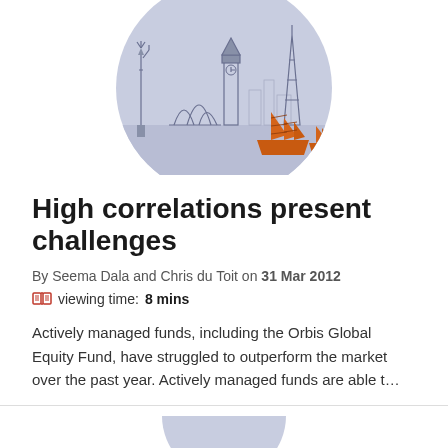[Figure (illustration): Circular illustration with light blue/lavender background showing world landmarks (Statue of Liberty, Sydney Opera House, Big Ben, Eiffel Tower) and orange Chinese junk boats in the foreground, drawn in a sketch style.]
High correlations present challenges
By Seema Dala and Chris du Toit on 31 Mar 2012
viewing time: 8 mins
Actively managed funds, including the Orbis Global Equity Fund, have struggled to outperform the market over the past year. Actively managed funds are able t...
[Figure (illustration): Partial circular illustration visible at bottom of page, same style as top illustration.]